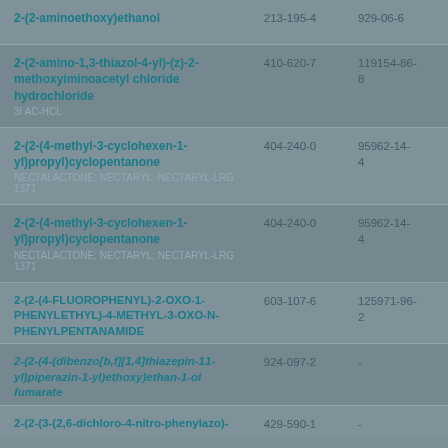| Chemical Name | EC Number | CAS Number |
| --- | --- | --- |
| 2-(2-aminoethoxy)ethanol | 213-195-4 | 929-06-6 |
| 2-(2-amino-1,3-thiazol-4-yl)-(z)-2-methoxyiminoacetyl chloride hydrochloride
3I AC-HCL | 410-620-7 | 119154-86-8 |
| 2-(2-(4-methyl-3-cyclohexen-1-yl)propyl)cyclopentanone
NECTALACTONE; NECTARYL; NECTARYL-LRG 1371 | 404-240-0 | 95962-14-4 |
| 2-(2-(4-methyl-3-cyclohexen-1-yl)propyl)cyclopentanone
NECTALACTONE; NECTARYL; NECTARYL-LRG 1371 | 404-240-0 | 95962-14-4 |
| 2-(2-(4-FLUOROPHENYL)-2-OXO-1-PHENYLETHYL)-4-METHYL-3-OXO-N-PHENYLPENTANAMIDE | 603-107-6 | 125971-96-2 |
| 2-(2-(4-(dibenzo[b,f][1,4]thiazepin-11-yl)piperazin-1-yl)ethoxy)ethan-1-ol fumarate | 924-097-2 | - |
| 2-(2-(3-(2,6-dichloro-4-nitro-phenylazo)-... | 429-590-1 | - |